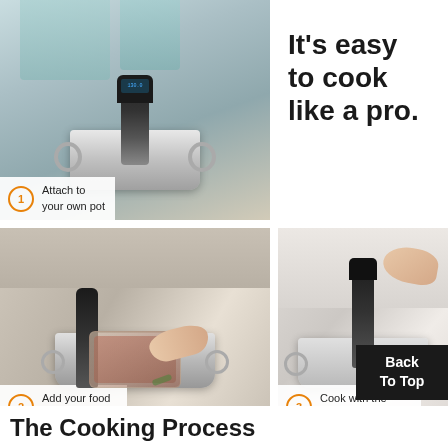[Figure (photo): Sous vide immersion circulator attached to a stainless steel pot on a kitchen counter, step 1 label overlay]
It’s easy to cook like a pro.
[Figure (photo): Person placing a sealed bag with food into a pot with immersion circulator, step 2 label overlay]
[Figure (photo): Person pressing controls on immersion circulator attached to a pot, step 3 label overlay]
Back
To Top
The Cooking Process